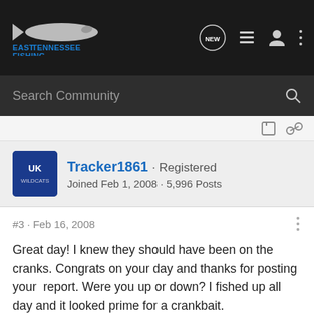[Figure (logo): EastTennesseeFishing logo with fish silhouette and site name in blue text on dark background]
Search Community
Tracker1861 · Registered
Joined Feb 1, 2008 · 5,996 Posts
#3 · Feb 16, 2008
Great day!  I knew they should have been on the cranks. Congrats on your day and thanks for posting your  report. Were you up or down? I fished up all day and it looked prime for a crankbait.